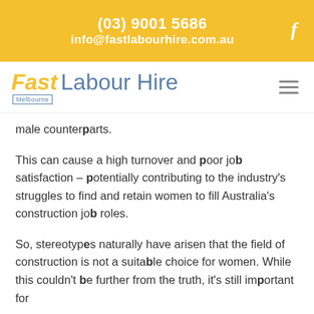(03) 9001 5686
info@fastlabourhire.com.au
[Figure (logo): Fast Labour Hire Melbourne logo with yellow 'Fast' italic text, blue 'Labour Hire' text, and 'Melbourne' in a bordered box]
male counterparts.
This can cause a high turnover and poor job satisfaction – potentially contributing to the industry's struggles to find and retain women to fill Australia's construction job roles.
So, stereotypes naturally have arisen that the field of construction is not a suitable choice for women. While this couldn't be further from the truth, it's still important for